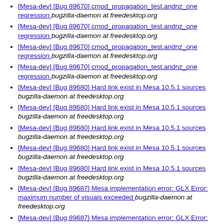[Mesa-dev] [Bug 89670] cmod_propagation_test.andnz_one regression  bugzilla-daemon at freedesktop.org
[Mesa-dev] [Bug 89670] cmod_propagation_test.andnz_one regression  bugzilla-daemon at freedesktop.org
[Mesa-dev] [Bug 89670] cmod_propagation_test.andnz_one regression  bugzilla-daemon at freedesktop.org
[Mesa-dev] [Bug 89670] cmod_propagation_test.andnz_one regression  bugzilla-daemon at freedesktop.org
[Mesa-dev] [Bug 89680] Hard link exist in Mesa 10.5.1 sources  bugzilla-daemon at freedesktop.org
[Mesa-dev] [Bug 89680] Hard link exist in Mesa 10.5.1 sources  bugzilla-daemon at freedesktop.org
[Mesa-dev] [Bug 89680] Hard link exist in Mesa 10.5.1 sources  bugzilla-daemon at freedesktop.org
[Mesa-dev] [Bug 89680] Hard link exist in Mesa 10.5.1 sources  bugzilla-daemon at freedesktop.org
[Mesa-dev] [Bug 89680] Hard link exist in Mesa 10.5.1 sources  bugzilla-daemon at freedesktop.org
[Mesa-dev] [Bug 89687] Mesa implementation error: GLX Error: maximum number of visuals exceeded  bugzilla-daemon at freedesktop.org
[Mesa-dev] [Bug 89687] Mesa implementation error: GLX Error: maximum number of visuals exceeded  bugzilla-daemon at freedesktop.org
[Mesa-dev] [Bug 89689] [Regression] Weston on DRM backend can't start with new version of mesa  bugzilla-daemon at freedesktop.org